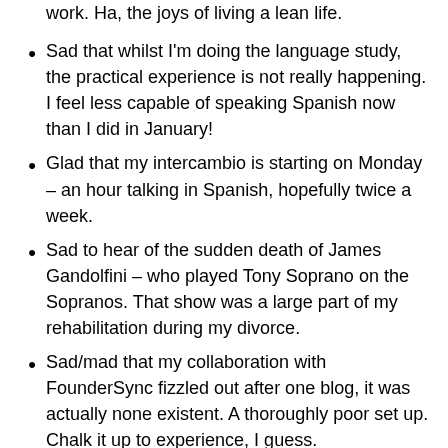work. Ha, the joys of living a lean life.
Sad that whilst I'm doing the language study, the practical experience is not really happening. I feel less capable of speaking Spanish now than I did in January!
Glad that my intercambio is starting on Monday – an hour talking in Spanish, hopefully twice a week.
Sad to hear of the sudden death of James Gandolfini – who played Tony Soprano on the Sopranos. That show was a large part of my rehabilitation during my divorce.
Sad/mad that my collaboration with FounderSync fizzled out after one blog, it was actually none existent. A thoroughly poor set up. Chalk it up to experience, I guess.